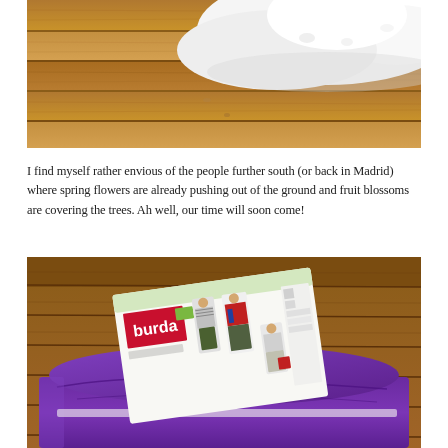[Figure (photo): Close-up photo of snow on wooden planks/steps, showing white snow in the upper right corner and warm brown wood grain texture]
I find myself rather envious of the people further south (or back in Madrid) where spring flowers are already pushing out of the ground and fruit blossoms are covering the trees. Ah well, our time will soon come!
[Figure (photo): Photo of a folded purple fabric with a Burda sewing pattern envelope placed on top, showing illustrations of people wearing clothing items, placed on a wooden surface]